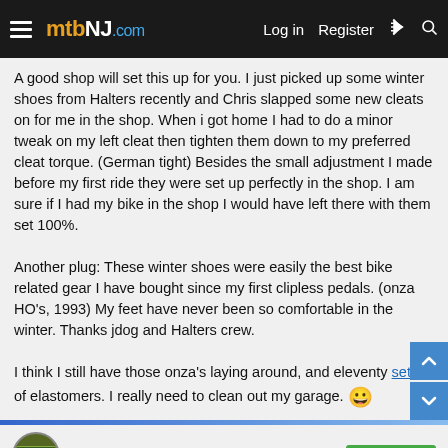mtbNJ.com — Log in  Register
A good shop will set this up for you. I just picked up some winter shoes from Halters recently and Chris slapped some new cleats on for me in the shop. When i got home I had to do a minor tweak on my left cleat then tighten them down to my preferred cleat torque. (German tight) Besides the small adjustment I made before my first ride they were set up perfectly in the shop. I am sure if I had my bike in the shop I would have left there with them set 100%.
Another plug: These winter shoes were easily the best bike related gear I have bought since my first clipless pedals. (onza HO's, 1993) My feet have never been so comfortable in the winter. Thanks jdog and Halters crew.
I think I still have those onza's laying around, and eleventy sets of elastomers. I really need to clean out my garage. 😀
KenS